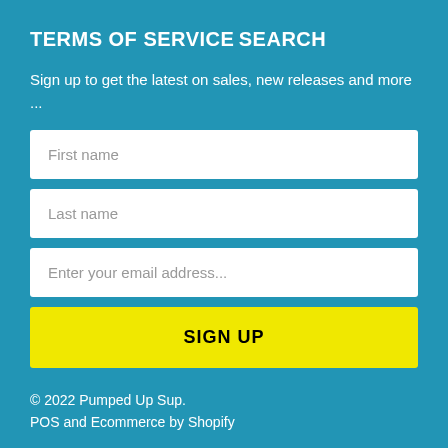TERMS OF SERVICE
SEARCH
Sign up to get the latest on sales, new releases and more ...
First name
Last name
Enter your email address...
SIGN UP
© 2022 Pumped Up Sup.
POS and Ecommerce by Shopify